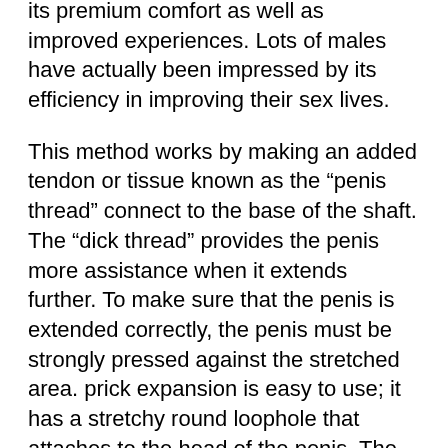its premium comfort as well as improved experiences. Lots of males have actually been impressed by its efficiency in improving their sex lives.
This method works by making an added tendon or tissue known as the “penis thread” connect to the base of the shaft. The “dick thread” provides the penis more assistance when it extends further. To make sure that the penis is extended correctly, the penis must be strongly pressed against the stretched area. prick expansion is easy to use; it has a stretchy round loophole that attaches to the head of the penis. The “dick thread” is then placed into the shaft after which it is attached to the “elastic round loophole”.